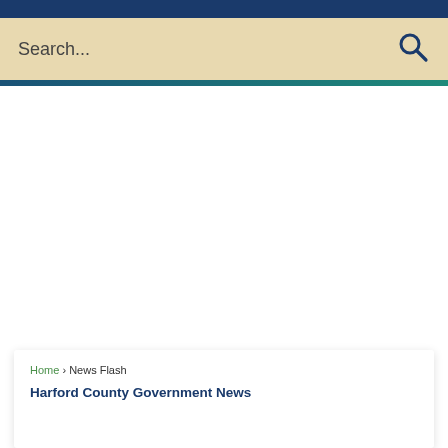Search...
Home › News Flash
Harford County Government News